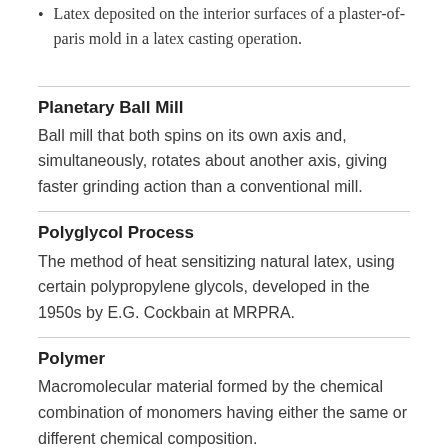Latex deposited on the interior surfaces of a plaster-of-paris mold in a latex casting operation.
Planetary Ball Mill
Ball mill that both spins on its own axis and, simultaneously, rotates about another axis, giving faster grinding action than a conventional mill.
Polyglycol Process
The method of heat sensitizing natural latex, using certain polypropylene glycols, developed in the 1950s by E.G. Cockbain at MRPRA.
Polymer
Macromolecular material formed by the chemical combination of monomers having either the same or different chemical composition.